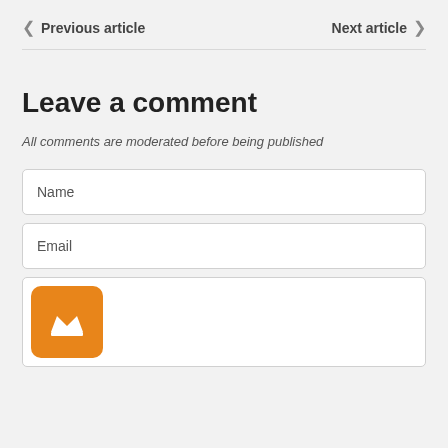< Previous article    Next article >
Leave a comment
All comments are moderated before being published
Name
Email
[Figure (illustration): Orange rounded square badge with a white crown icon inside, positioned at the top-left of a comment text area field]